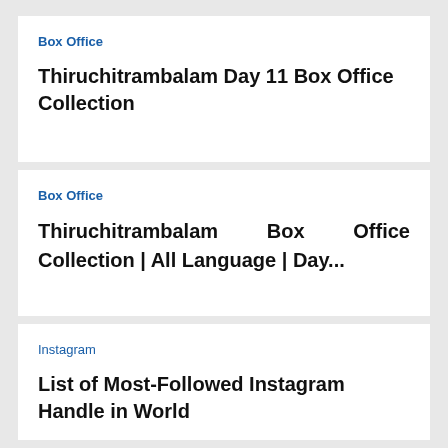Box Office
Thiruchitrambalam Day 11 Box Office Collection
Box Office
Thiruchitrambalam Box Office Collection | All Language | Day...
Instagram
List of Most-Followed Instagram Handle in World